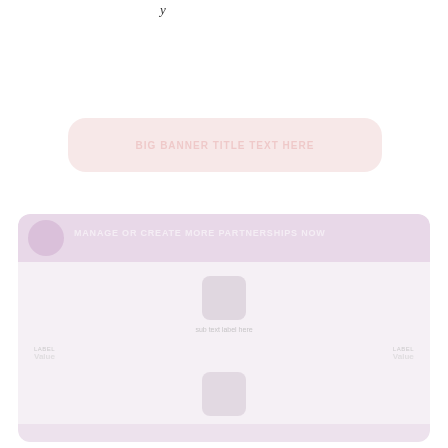[Figure (infographic): Faded pink rounded banner box in upper center area of page]
[Figure (infographic): Large faded purple/pink card with header bar containing icon and text, central icon, sub-labels, and bottom section with icons and footer bar]